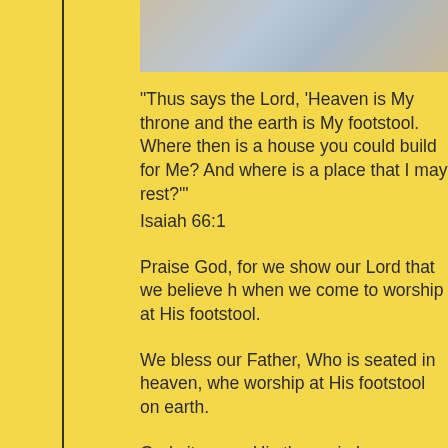[Figure (photo): A blurred/soft-focus image of what appears to be a building or landscape, partially visible at the top of the page.]
“Thus says the Lord, ‘Heaven is My throne and the earth is My footstool. Where then is a house you could build for Me? And where is a place that I may rest?’”
Isaiah 66:1
Praise God, for we show our Lord that we believe he is worthy of praise when we come to worship at His footstool.
We bless our Father, Who is seated in heaven, when we come to worship at His footstool on earth.
God sits upon His throne in heaven, and we are the ones who are privileged and blessed to exalt Him at His footstool.
If God is this big, how could any building ever cont...